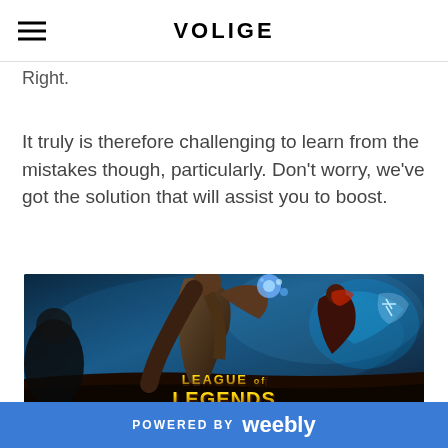VOLIGE
Right.
It truly is therefore challenging to learn from the mistakes though, particularly. Don't worry, we've got the solution that will assist you to boost.
[Figure (photo): League of Legends game promotional artwork showing fantasy characters with the text 'LEAGUE of LEGENDS' in gold letters]
POWERED BY weebly